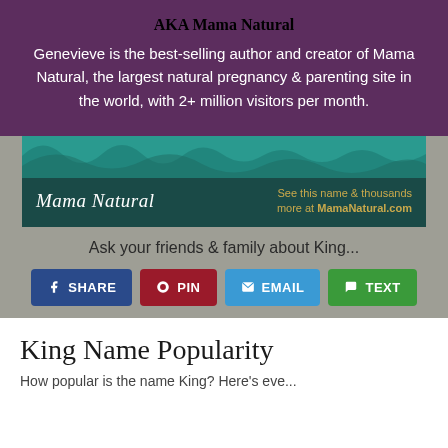AKA Mama Natural
Genevieve is the best-selling author and creator of Mama Natural, the largest natural pregnancy & parenting site in the world, with 2+ million visitors per month.
[Figure (screenshot): Mama Natural website banner with logo and text 'See this name & thousands more at MamaNatural.com']
Ask your friends & family about King...
SHARE   PIN   EMAIL   TEXT (social sharing buttons)
King Name Popularity
How popular is the name King? (partial, cut off)